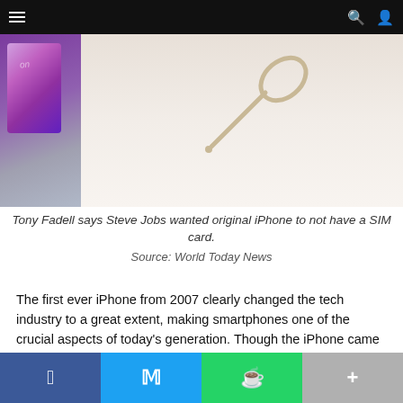Navigation bar with hamburger menu, search icon, and user icon
[Figure (photo): Close-up photo of an iPhone with a SIM card ejector pin tool resting on a white surface, with a purple phone screen visible on the left edge.]
Tony Fadell says Steve Jobs wanted original iPhone to not have a SIM card.
Source: World Today News
The first ever iPhone from 2007 clearly changed the tech industry to a great extent, making smartphones one of the crucial aspects of today's generation. Though the iPhone came up as something one had never seen before, but hardly did anyone know Steve Job's actual vision for it. The Apple founder initially wanted the
Share buttons: Facebook, Twitter, WhatsApp, More